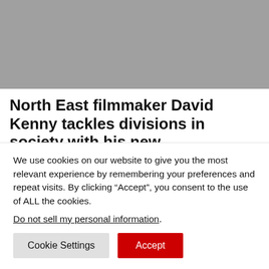[Figure (photo): Gray image placeholder at top of article page]
North East filmmaker David Kenny tackles divisions in society with his new documentary film IT IS NOT ONE WAY
Photo: Simone Rudolphi What happens when a Muslim city councillor, a key figure in the English Defence League and a member of ANTIFA have a meal together? In 2015 North East filmmaker David Kenny picked up his
We use cookies on our website to give you the most relevant experience by remembering your preferences and repeat visits. By clicking “Accept”, you consent to the use of ALL the cookies.
Do not sell my personal information.